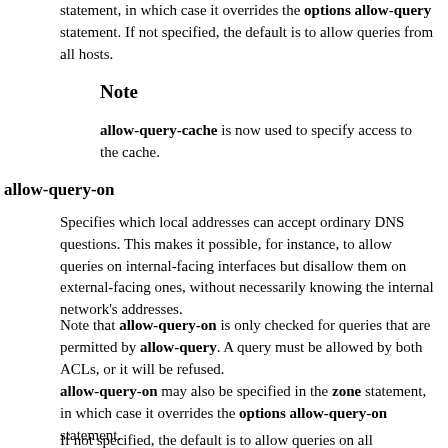statement, in which case it overrides the options allow-query statement. If not specified, the default is to allow queries from all hosts.
Note
allow-query-cache is now used to specify access to the cache.
allow-query-on
Specifies which local addresses can accept ordinary DNS questions. This makes it possible, for instance, to allow queries on internal-facing interfaces but disallow them on external-facing ones, without necessarily knowing the internal network's addresses.
Note that allow-query-on is only checked for queries that are permitted by allow-query. A query must be allowed by both ACLs, or it will be refused.
allow-query-on may also be specified in the zone statement, in which case it overrides the options allow-query-on statement.
If not specified, the default is to allow queries on all